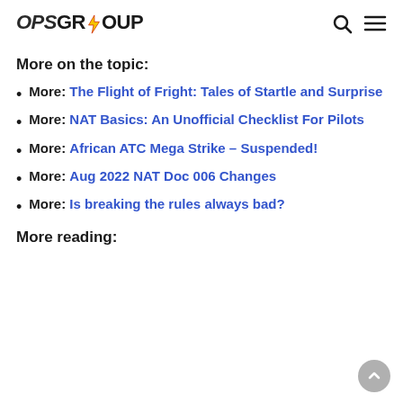OPS GROUP
More on the topic:
More: The Flight of Fright: Tales of Startle and Surprise
More: NAT Basics: An Unofficial Checklist For Pilots
More: African ATC Mega Strike – Suspended!
More: Aug 2022 NAT Doc 006 Changes
More: Is breaking the rules always bad?
More reading: